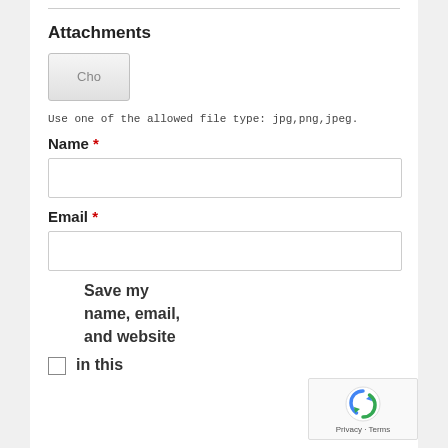Attachments
[Figure (screenshot): File upload button showing 'Cho' (Choose File button, partially visible)]
Use one of the allowed file type: jpg,png,jpeg.
Name *
[Figure (screenshot): Empty text input field for Name]
Email *
[Figure (screenshot): Empty text input field for Email]
Save my name, email, and website in this
[Figure (screenshot): reCAPTCHA badge with Privacy and Terms text]